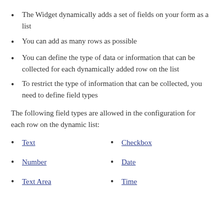The Widget dynamically adds a set of fields on your form as a list
You can add as many rows as possible
You can define the type of data or information that can be collected for each dynamically added row on the list
To restrict the type of information that can be collected, you need to define field types
The following field types are allowed in the configuration for each row on the dynamic list:
Text
Checkbox
Number
Date
Text Area
Time